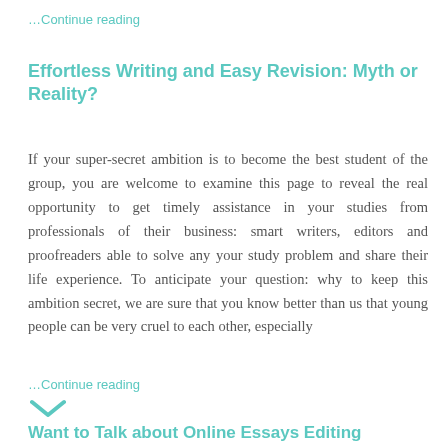…Continue reading
Effortless Writing and Easy Revision: Myth or Reality?
If your super-secret ambition is to become the best student of the group, you are welcome to examine this page to reveal the real opportunity to get timely assistance in your studies from professionals of their business: smart writers, editors and proofreaders able to solve any your study problem and share their life experience. To anticipate your question: why to keep this ambition secret, we are sure that you know better than us that young people can be very cruel to each other, especially
…Continue reading
Want to Talk about Online Essays Editing Services?